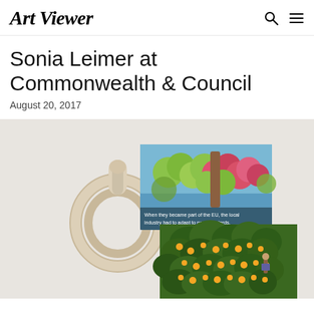Art Viewer
Sonia Leimer at Commonwealth & Council
August 20, 2017
[Figure (photo): Installation artwork showing a wooden paddle/circular ring sculpture alongside two photographic prints — one showing close-up green and pink/red apples with text overlay reading 'When they became part of the EU, the local industry had to adapt to new standards.' and another showing an orange grove with a figure among trees.]